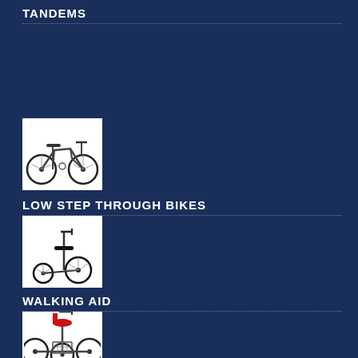TANDEMS
[Figure (photo): Low step through bike - a folding style bicycle with low frame]
LOW STEP THROUGH BIKES
[Figure (photo): Walking aid - a mobility scooter/walking aid device with two small wheels at front and one at back]
WALKING AID
[Figure (photo): Tricycle with red seat and front basket]